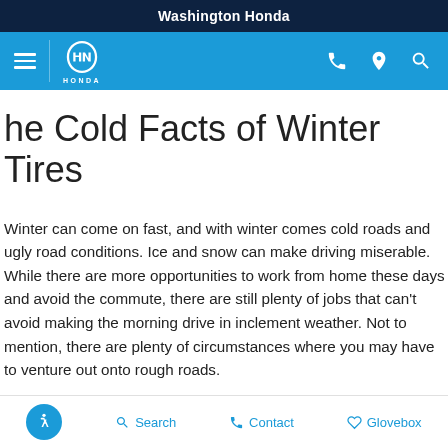Washington Honda
The Cold Facts of Winter Tires
Winter can come on fast, and with winter comes cold roads and ugly road conditions. Ice and snow can make driving miserable. While there are more opportunities to work from home these days and avoid the commute, there are still plenty of jobs that can't avoid making the morning drive in inclement weather. Not to mention, there are plenty of circumstances where you may have to venture out onto rough roads.
All-wheel and four-wheel drive vehicles help out in poor conditions, but they aren't the answer all on their own. Even if all four wheels are getting
Search   Contact   Glovebox